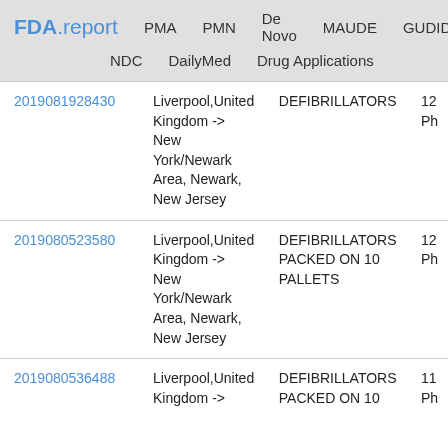FDA.report  PMA  PMN  De Novo  MAUDE  GUDID  NDC  DailyMed  Drug Applications
| ID | Route | Description | Info |
| --- | --- | --- | --- |
| 2019081928430 | Liverpool,United Kingdom -> New York/Newark Area, Newark, New Jersey | DEFIBRILLATORS | 12 Ph |
| 2019080523580 | Liverpool,United Kingdom -> New York/Newark Area, Newark, New Jersey | DEFIBRILLATORS PACKED ON 10 PALLETS | 12 Ph |
| 2019080536488 | Liverpool,United Kingdom -> | DEFIBRILLATORS PACKED ON 10 | 11 Ph |